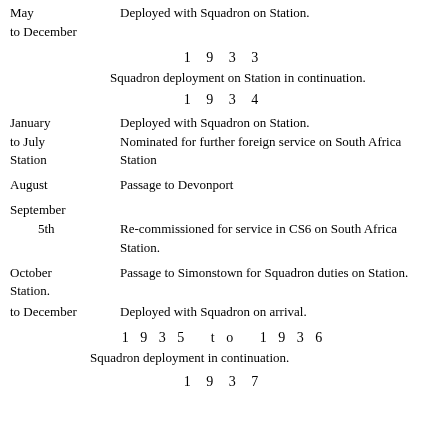May to December    Deployed with Squadron on Station.
1 9 3 3
Squadron deployment on Station in continuation.
1 9 3 4
January to July Station    Deployed with Squadron on Station. Nominated for further foreign service on South Africa Station
August    Passage to Devonport
September 5th    Re-commissioned for service in CS6 on South Africa Station.
October Station.    Passage to Simonstown for Squadron duties on Station.
to December    Deployed with Squadron on arrival.
1 9 3 5  to  1 9 3 6
Squadron deployment in continuation.
1 9 3 7